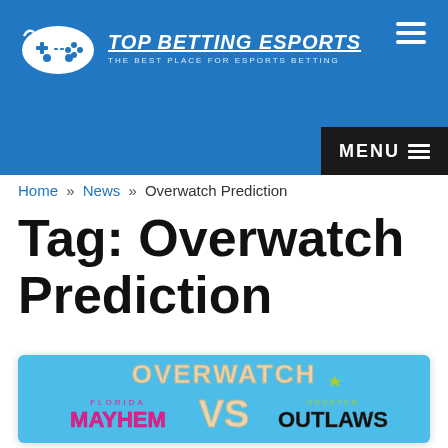TOP BETTING ESPORTS — THE BEST PLACE FOR ESPORTS BETTING
Home » News » Overwatch Prediction
Tag: Overwatch Prediction
[Figure (illustration): Overwatch League match graphic showing Florida Mayhem vs Houston Outlaws logos on a light blue background with 'OVERWATCH' text at top and 'VS' in center]